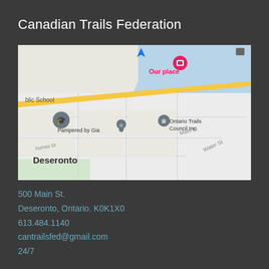Canadian Trails Federation
[Figure (map): Google Maps screenshot showing 500 Main St, Deseronto, Ontario. Map shows streets including Main St, Water St, Thomas St with a pink 'Our place' marker, Ontario Trails Council Inc marker, Pampered by Gia marker, and a public school marker. Blue water body visible on right side.]
500 Main St.
Deseronto, Ontario. K0K1X0
613.484.1140
cantrailsfed@gmail.com
24/7